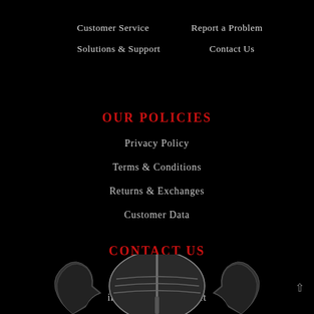Customer Service
Report a Problem
Solutions & Support
Contact Us
OUR POLICIES
Privacy Policy
Terms & Conditions
Returns & Exchanges
Customer Data
CONTACT US
Contact Form
info@countrycrush.net
[Figure (logo): Viking helmet silhouette logo at bottom of page, black and white illustration]